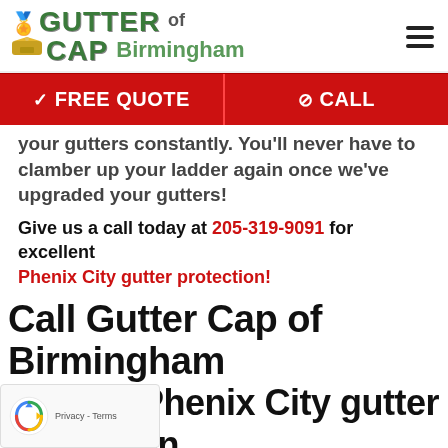[Figure (logo): Gutter Cap of Birmingham logo with red hat icon and green/olive text]
FREE QUOTE | CALL (navigation bar buttons)
your gutters constantly. You'll never have to clamber up your ladder again once we've upgraded your gutters!
Give us a call today at 205-319-9091 for excellent Phenix City gutter protection!
Call Gutter Cap of Birmingham the best Phenix City gutter protection